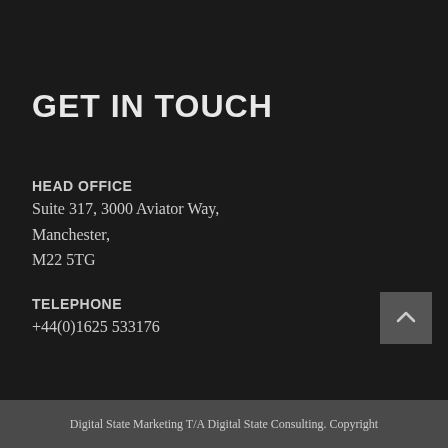GET IN TOUCH
HEAD OFFICE
Suite 317, 3000 Aviator Way,
Manchester,
M22 5TG
TELEPHONE
+44(0)1625 533176
Digital State Marketing T/A Digital State Consulting. Copyright